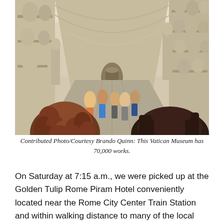[Figure (photo): Interior hallway of the Vatican Museum showing a long gallery lined with classical sculptures, busts on shelves along the walls, vaulted ceiling, marble floor, and visitors walking through. Two women's heads visible in the foreground.]
Contributed Photo/Courtesy Brando Quinn: This Vatican Museum has 70,000 works.
On Saturday at 7:15 a.m., we were picked up at the Golden Tulip Rome Piram Hotel conveniently located near the Rome City Center Train Station and within walking distance to many of the local attractions by driver Marcus and Tour Guides Nicoli and Alessandra. The Mercedes Benz was comfortable and could easily accommodate six